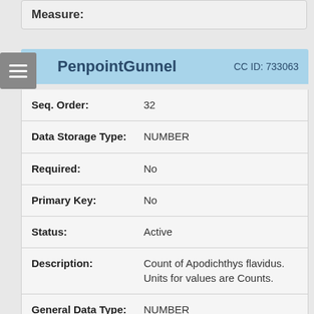Measure:
PenpointGunnel  CC ID: 733063
| Field | Value |
| --- | --- |
| Seq. Order: | 32 |
| Data Storage Type: | NUMBER |
| Required: | No |
| Primary Key: | No |
| Status: | Active |
| Description: | Count of Apodichthys flavidus. Units for values are Counts. |
| General Data Type: | NUMBER |